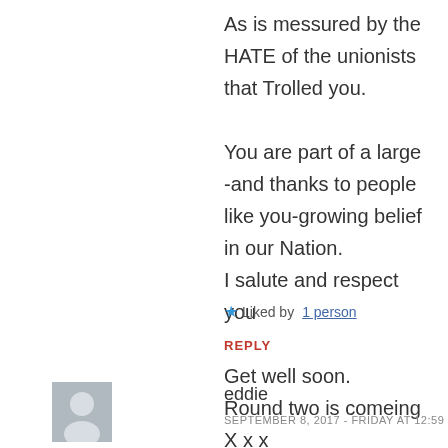As is messured by the HATE of the unionists that Trolled you.
You are part of a large -and thanks to people like you-growing belief in our Nation.
I salute and respect you
Get well soon.
Round two is comeing
X x x
★ Liked by 1 person
REPLY
[Figure (illustration): Grey avatar placeholder icon showing a silhouette of a person]
eddie
SEPTEMBER 8, 2017 - FRIDAY AT 12:59